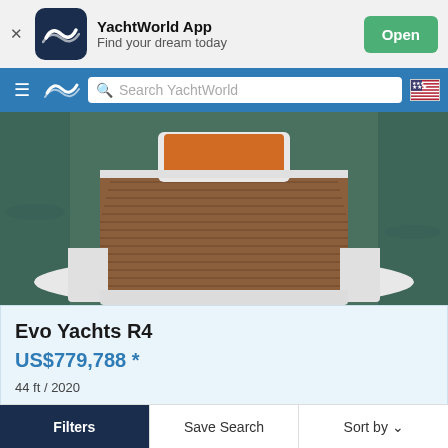[Figure (screenshot): App banner with YachtWorld logo, app name, tagline, and Open button]
[Figure (screenshot): Navigation bar with hamburger menu, YachtWorld logo, search bar, and US flag icon]
[Figure (photo): Photo of stern/back of a yacht with wooden teak deck and water visible on sides]
Evo Yachts R4
US$779,788 *
44 ft / 2020
EMPURIABRAVA, Spain
PROBRAVA
Filters   Save Search   Sort by